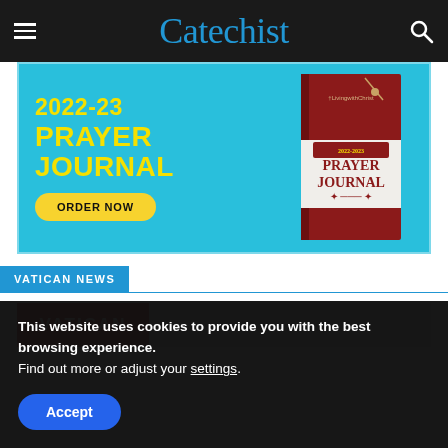Catechist
[Figure (illustration): Advertisement for 2022-23 Prayer Journal with cyan background, yellow text '2022-23 PRAYER JOURNAL', yellow ORDER NOW button, and book image on right]
VATICAN NEWS
[Figure (photo): Vatican article thumbnail with red background showing VATICAN text]
This website uses cookies to provide you with the best browsing experience.
Find out more or adjust your settings.
Accept